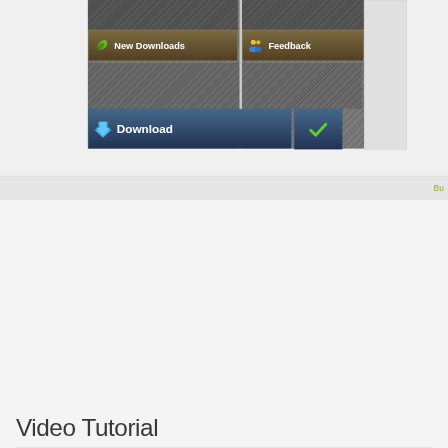[Figure (screenshot): Screenshot of a software interface showing a dark hatched background panel with two brown buttons labeled 'New Downloads' and 'Feedback', and two blue buttons labeled 'Download' and a partially visible 'R' button with a checkmark.]
Bu
Video Tutorial